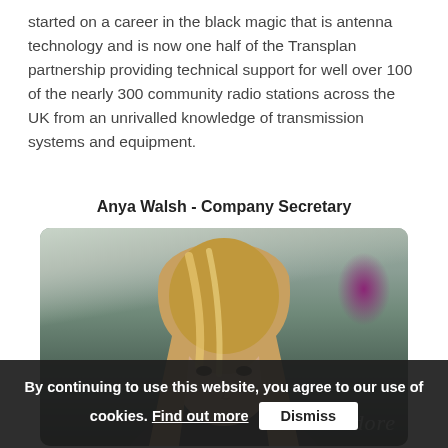started on a career in the black magic that is antenna technology and is now one half of the Transplan partnership providing technical support for well over 100 of the nearly 300 community radio stations across the UK from an unrivalled knowledge of transmission systems and equipment.
Anya Walsh - Company Secretary
[Figure (photo): Portrait photo of Anya Walsh, a woman with long blonde hair, set against an office background with a purple logo/circle visible in the top right corner and partial text 'adore' visible at the bottom right.]
By continuing to use this website, you agree to our use of cookies. Find out more  Dismiss